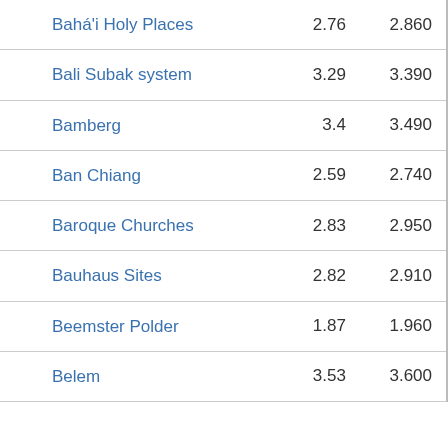| Bahá'i Holy Places | 2.76 | 2.860 |
| Bali Subak system | 3.29 | 3.390 |
| Bamberg | 3.4 | 3.490 |
| Ban Chiang | 2.59 | 2.740 |
| Baroque Churches | 2.83 | 2.950 |
| Bauhaus Sites | 2.82 | 2.910 |
| Beemster Polder | 1.87 | 1.960 |
| Belem | 3.53 | 3.600 |